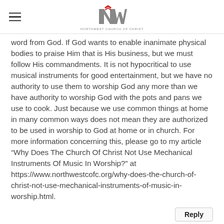NW (logo)
word from God. If God wants to enable inanimate physical bodies to praise Him that is His business, but we must follow His commandments. It is not hypocritical to use musical instruments for good entertainment, but we have no authority to use them to worship God any more than we have authority to worship God with the pots and pans we use to cook. Just because we use common things at home in many common ways does not mean they are authorized to be used in worship to God at home or in church. For more information concerning this, please go to my article “Why Does The Church Of Christ Not Use Mechanical Instruments Of Music In Worship?” at https://www.northwestcofc.org/why-does-the-church-of-christ-not-use-mechanical-instruments-of-music-in-worship.html.
Reply
John	9/10/2021 11:20:13 am